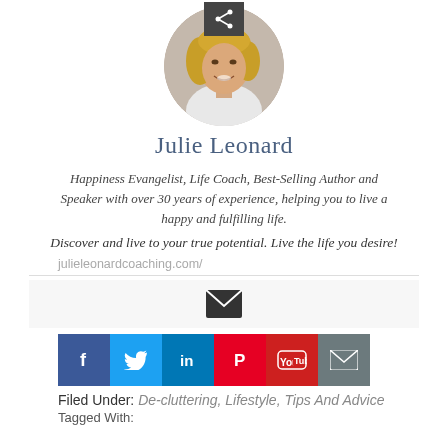[Figure (photo): Circular profile photo of Julie Leonard, a blonde woman in a white top, smiling]
Julie Leonard
Happiness Evangelist, Life Coach, Best-Selling Author and Speaker with over 30 years of experience, helping you to live a happy and fulfilling life.
Discover and live to your true potential. Live the life you desire!
julieleonardcoaching.com/
[Figure (infographic): Email envelope icon in dark color]
[Figure (infographic): Row of social sharing buttons: Facebook, Twitter, LinkedIn, Pinterest, YouTube, Email]
Filed Under: De-cluttering, Lifestyle, Tips And Advice
Tagged With: ...